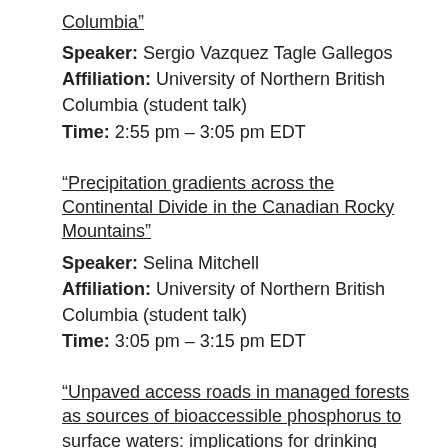Columbia”
Speaker: Sergio Vazquez Tagle Gallegos
Affiliation: University of Northern British Columbia (student talk)
Time: 2:55 pm – 3:05 pm EDT
“Precipitation gradients across the Continental Divide in the Canadian Rocky Mountains”
Speaker: Selina Mitchell
Affiliation: University of Northern British Columbia (student talk)
Time: 3:05 pm – 3:15 pm EDT
“Unpaved access roads in managed forests as sources of bioaccessible phosphorus to surface waters: implications for drinking water